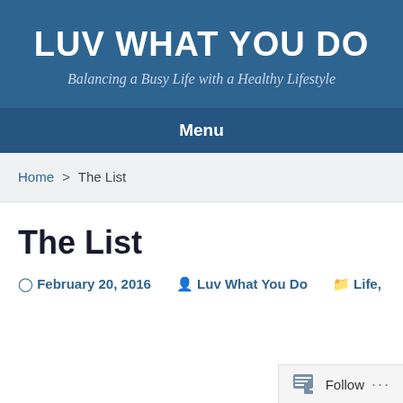LUV WHAT YOU DO
Balancing a Busy Life with a Healthy Lifestyle
Menu
Home > The List
The List
February 20, 2016   Luv What You Do   Life,
Follow ...